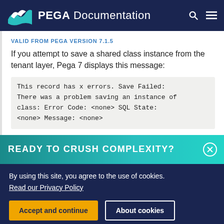PEGA Documentation
VALID FROM PEGA VERSION 7.1.5
If you attempt to save a shared class instance from the tenant layer, Pega 7 displays this message:
This record has x errors. Save Failed: There was a problem saving an instance of class: Error Code: <none> SQL State: <none> Message: <none>
READY TO CRUSH COMPLEXITY?
By using this site, you agree to the use of cookies.
Read our Privacy Policy
Accept and continue   About cookies